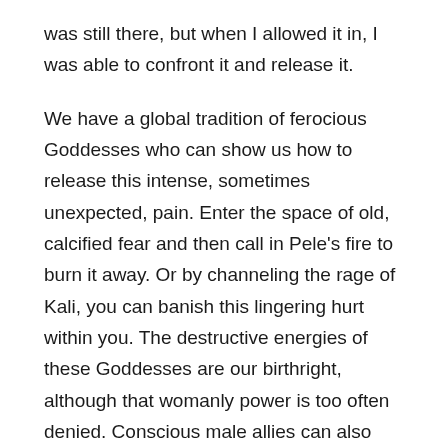was still there, but when I allowed it in, I was able to confront it and release it.
We have a global tradition of ferocious Goddesses who can show us how to release this intense, sometimes unexpected, pain. Enter the space of old, calcified fear and then call in Pele's fire to burn it away. Or by channeling the rage of Kali, you can banish this lingering hurt within you. The destructive energies of these Goddesses are our birthright, although that womanly power is too often denied. Conscious male allies can also embrace the fierce feminine within themselves and feed the conflagration.
Burn the old love letters and let go of that failed relationship. Donate the ill-fitting work clothes that remind you of the obnoxious, sexist boss. If we can start